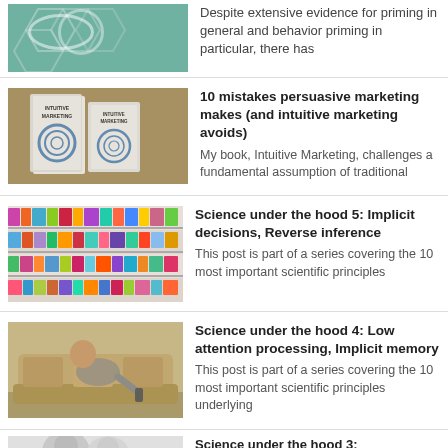[Figure (illustration): Partial view of decorative green/teal hexagonal pattern image]
Despite extensive evidence for priming in general and behavior priming in particular, there has
[Figure (photo): Two copies of the book 'Intuitive Marketing' on a brown surface]
10 mistakes persuasive marketing makes (and intuitive marketing avoids)
My book, Intuitive Marketing, challenges a fundamental assumption of traditional
[Figure (photo): Colorful product shelves in a store aisle]
Science under the hood 5: Implicit decisions, Reverse inference
This post is part of a series covering the 10 most important scientific principles
[Figure (photo): Man sitting on a couch watching TV with remote control]
Science under the hood 4: Low attention processing, Implicit memory
This post is part of a series covering the 10 most important scientific principles underlying
[Figure (photo): Black and white photo of two men's faces]
Science under the hood 3: Misattribution, Nonconscious goal pursuit